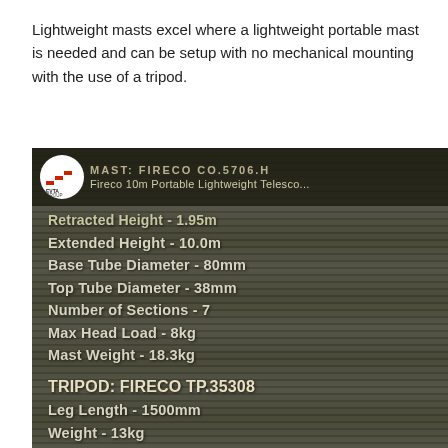Lightweight masts excel where a lightweight portable mast is needed and can be setup with no mechanical mounting with the use of a tripod.
[Figure (photo): Photo of a telescopic mast product label/spec sheet showing EVTA Group logo, product name 'Fireco 10m Portable Lightweight Telescopic Mast' with specifications: Retracted Height 1.95m, Extended Height 10.0m, Base Tube Diameter 80mm, Top Tube Diameter 38mm, Number of Sections 7, Max Head Load 8kg, Mast Weight 18.3kg, TRIPOD: FIRECO TP.35308, Leg Length 1500mm, Weight 13kg]